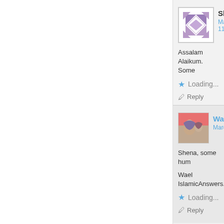[Figure (screenshot): Comment section of a website showing two comments. First comment by Shena dated March 11, with avatar (purple/white geometric pattern), text starting 'Assalam Alaikum. Some...' with a Loading... like indicator and Reply button. Nested reply comment by Wael dated March..., with a photo avatar, text 'Shena, some hum...' and signature 'Wael IslamicAnswers.co...' with Loading... and Reply.]